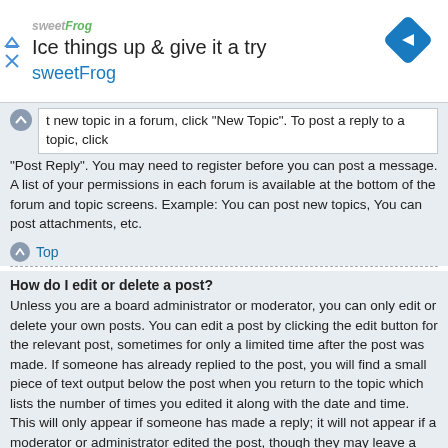[Figure (illustration): SweetFrog advertisement banner with logo, tagline 'Ice things up & give it a try', brand name 'sweetFrog', and a blue diamond-shaped direction icon on the right. Play and close controls on the left.]
t new topic in a forum, click "New Topic". To post a reply to a topic, click "Post Reply". You may need to register before you can post a message. A list of your permissions in each forum is available at the bottom of the forum and topic screens. Example: You can post new topics, You can post attachments, etc.
Top
How do I edit or delete a post?
Unless you are a board administrator or moderator, you can only edit or delete your own posts. You can edit a post by clicking the edit button for the relevant post, sometimes for only a limited time after the post was made. If someone has already replied to the post, you will find a small piece of text output below the post when you return to the topic which lists the number of times you edited it along with the date and time. This will only appear if someone has made a reply; it will not appear if a moderator or administrator edited the post, though they may leave a note as to why they've edited the post at their own discretion. Please note that normal users cannot delete a post once someone has replied.
Top
How do I add a signature to my post?